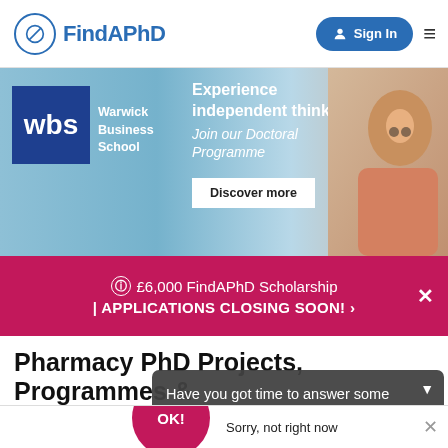FindAPhD — Sign In
[Figure (infographic): Warwick Business School banner ad: 'Experience independent thinking — Join our Doctoral Programme — Discover more']
£6,000 FindAPhD Scholarship | APPLICATIONS CLOSING SOON! >
Pharmacy PhD Projects, Programmes & Scholarships in Germany
Have you got time to answer some quick questions about PhD study?
By continuing to use our website, you agree to our privacy policy
OK!   Sorry, not right now